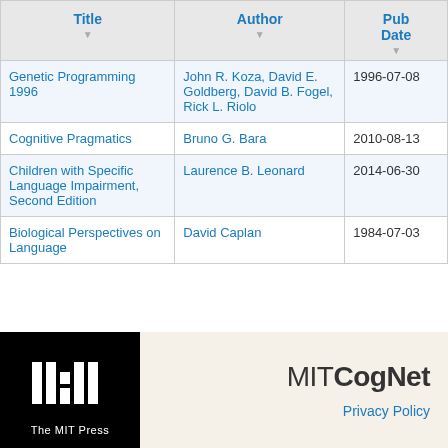| Title | Author | Pub Date |
| --- | --- | --- |
| Genetic Programming 1996 | John R. Koza, David E. Goldberg, David B. Fogel, Rick L. Riolo | 1996-07-08 |
| Cognitive Pragmatics | Bruno G. Bara | 2010-08-13 |
| Children with Specific Language Impairment, Second Edition | Laurence B. Leonard | 2014-06-30 |
| Biological Perspectives on Language | David Caplan | 1984-07-03 |
[Figure (logo): The MIT Press logo — white bar chart style icon on black background with 'The MIT Press' text below]
MITCogNet
Privacy Policy